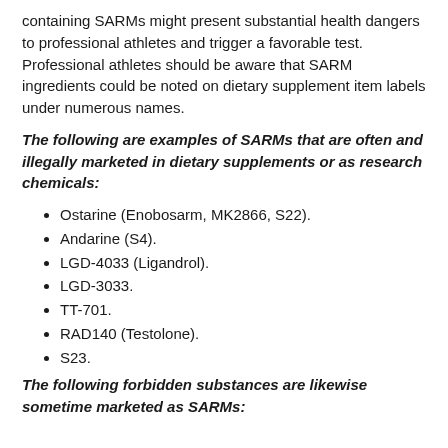containing SARMs might present substantial health dangers to professional athletes and trigger a favorable test. Professional athletes should be aware that SARM ingredients could be noted on dietary supplement item labels under numerous names.
The following are examples of SARMs that are often and illegally marketed in dietary supplements or as research chemicals:
Ostarine (Enobosarm, MK2866, S22).
Andarine (S4).
LGD-4033 (Ligandrol).
LGD-3033.
TT-701.
RAD140 (Testolone).
S23.
The following forbidden substances are likewise sometime marketed as SARMs: